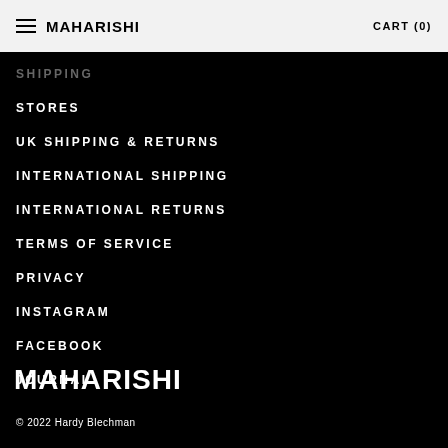MAHARISHI   CART (0)
STORES
UK SHIPPING & RETURNS
INTERNATIONAL SHIPPING
INTERNATIONAL RETURNS
TERMS OF SERVICE
PRIVACY
INSTAGRAM
FACEBOOK
JOURNAL
MAHARISHI
© 2022 Hardy Blechman